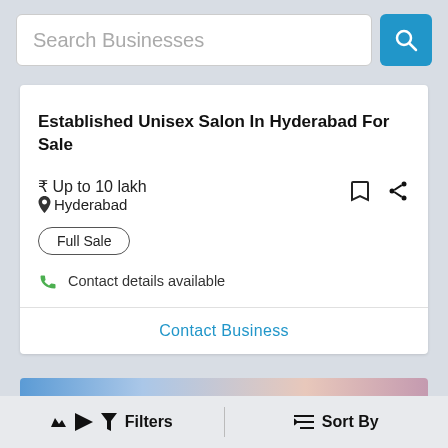Search Businesses
Established Unisex Salon In Hyderabad For Sale
₹ Up to 10 lakh
Hyderabad
Full Sale
Contact details available
Contact Business
Filters
Sort By